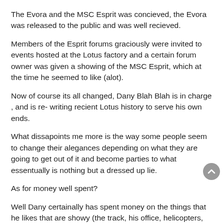The Evora and the MSC Esprit was concieved, the Evora was released to the public and was well recieved.
Members of the Esprit forums graciously were invited to events hosted at the Lotus factory and a certain forum owner was given a showing of the MSC Esprit, which at the time he seemed to like (alot).
Now of course its all changed, Dany Blah Blah is in charge , and is re- writing recient Lotus history to serve his own ends.
What dissapoints me more is the way some people seem to change their alegances depending on what they are going to get out of it and become parties to what essentually is nothing but a dressed up lie.
As for money well spent?
Well Dany certainally has spent money on the things that he likes that are showy (the track, his office, helicopters, jets, parties etc etc) whilst other aspects of the company are very neglected (employee morale, paying suppliers etc), and as yet the company has not made a cent of PROFIT whilst he has been in charge, nor